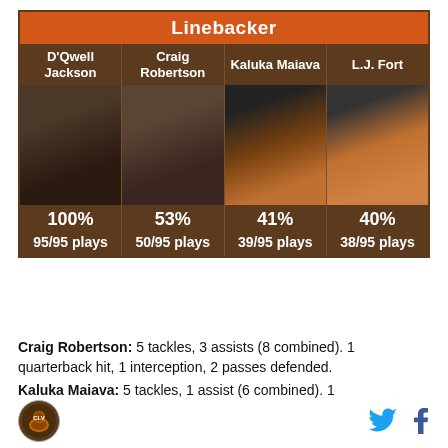[Figure (infographic): Linebacker infographic table showing D'Qwell Jackson (100%, 95/95 plays), Craig Robertson (53%, 50/95 plays), Kaluka Maiava (41%, 39/95 plays), L.J. Fort (40%, 38/95 plays) with player photos]
Craig Robertson: 5 tackles, 3 assists (8 combined). 1 quarterback hit, 1 interception, 2 passes defended.
Kaluka Maiava: 5 tackles, 1 assist (6 combined). 1
[Figure (logo): Cleveland Browns logo circle]
[Figure (other): Twitter bird icon and Facebook f icon]